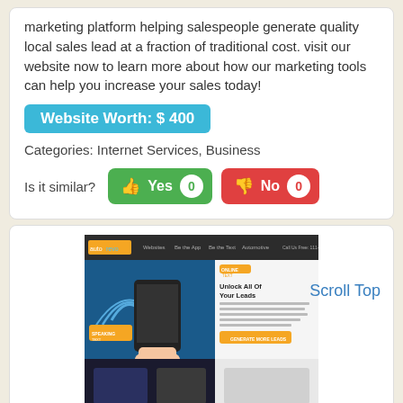marketing platform helping salespeople generate quality local sales lead at a fraction of traditional cost. visit our website now to learn more about how our marketing tools can help you increase your sales today!
Website Worth: $ 400
Categories: Internet Services, Business
Is it similar?  👍 Yes  0    👎 No  0
[Figure (screenshot): Screenshot of autorevo website showing navigation bar and 'Unlock All Of Your Leads' hero section with a hand holding a smartphone with WiFi signals]